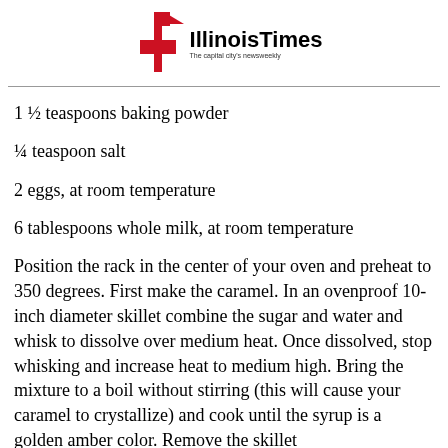[Figure (logo): Illinois Times newspaper logo with red arrow/figure graphic and text 'Illinois Times' with tagline 'The capital city's newsweekly']
1 ½ teaspoons baking powder
¼ teaspoon salt
2 eggs, at room temperature
6 tablespoons whole milk, at room temperature
Position the rack in the center of your oven and preheat to 350 degrees. First make the caramel. In an ovenproof 10-inch diameter skillet combine the sugar and water and whisk to dissolve over medium heat. Once dissolved, stop whisking and increase heat to medium high. Bring the mixture to a boil without stirring (this will cause your caramel to crystallize) and cook until the syrup is a golden amber color. Remove the skillet